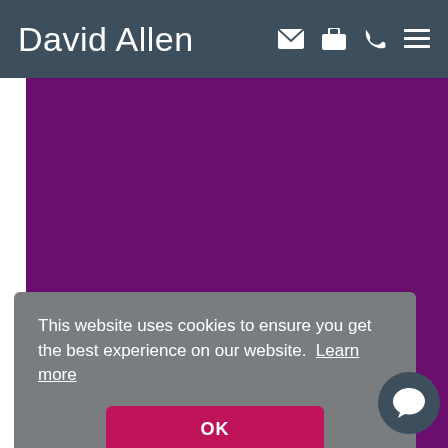David Allen
[Figure (screenshot): Purple background section with partial logo mark (yellow chevron/house icon and partial white text) for a company called Northwood or similar]
This website uses cookies to ensure you get the best experience on our website. Learn more
OK